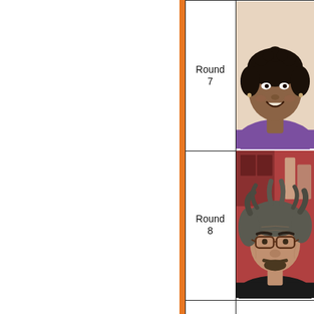[Figure (photo): Smiling Black woman with short curly hair, wearing a purple top, photographed indoors against a light background. Tournament bracket photo for Round 7.]
Round 7
[Figure (photo): Older man with disheveled gray hair and glasses, photographed in a restaurant or home setting. Tournament bracket photo for Round 8.]
Round 8